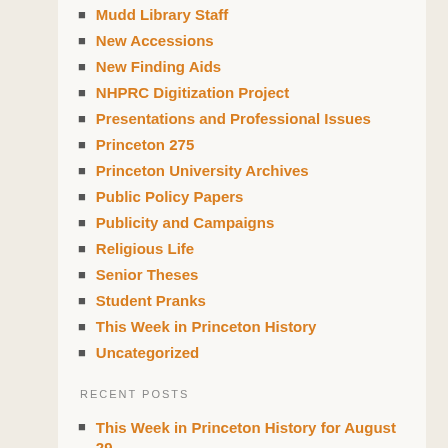Mudd Library Staff
New Accessions
New Finding Aids
NHPRC Digitization Project
Presentations and Professional Issues
Princeton 275
Princeton University Archives
Public Policy Papers
Publicity and Campaigns
Religious Life
Senior Theses
Student Pranks
This Week in Princeton History
Uncategorized
RECENT POSTS
This Week in Princeton History for August 29-September 4
This Week in Princeton History for August 22-28
This Week in Princeton History for August 15-21
This Week in Princeton History for August 8-14